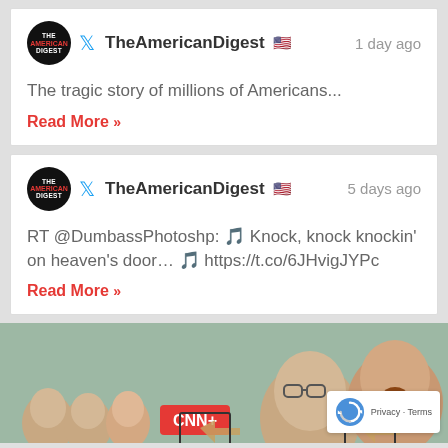[Figure (screenshot): Tweet card 1: TheAmericanDigest Twitter account, 1 day ago. Text: 'The tragic story of millions of Americans...' with a Read More link.]
[Figure (screenshot): Tweet card 2: TheAmericanDigest Twitter account, 5 days ago. Text: 'RT @DumbassPhotoshp: 🎵 Knock, knock knockin' on heaven's door... 🎵 https://t.co/6JHvigJYPc' with a Read More link.]
[Figure (photo): Bottom image: CNN+ related image showing faces of CNN personalities on a sage-green background, with a reCAPTCHA badge in the bottom-right corner.]